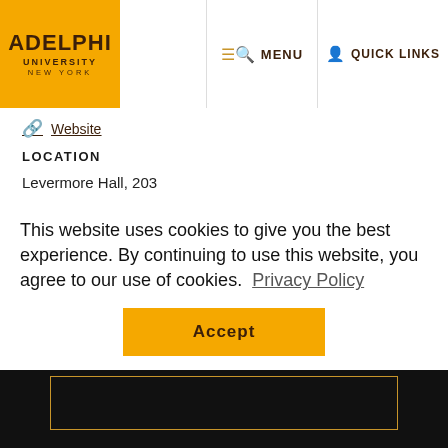Adelphi University New York | MENU | QUICK LINKS
Website
LOCATION
Levermore Hall, 203
This website uses cookies to give you the best experience. By continuing to use this website, you agree to our use of cookies. Privacy Policy
Accept